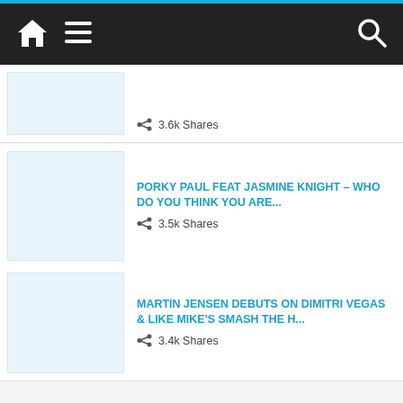Navigation header with home, menu, and search icons
3.6k Shares
PORKY PAUL FEAT JASMINE KNIGHT – WHO DO YOU THINK YOU ARE...
3.5k Shares
MARTIN JENSEN DEBUTS ON DIMITRI VEGAS & LIKE MIKE'S SMASH THE H...
3.4k Shares
VIZE KICK OFF THEIR YEAR WITH A BANG WITH NEW SINGLE 'DANCING ALONE◆...
3.4k Shares
MARTIN JENSEN & CHEAT CODES GO 'RUNNING' ON NEW UPLIFTING SIN...
3.2k Shares